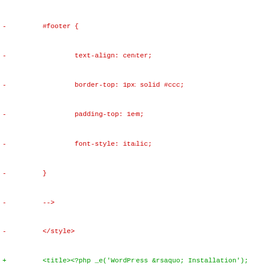[Figure (screenshot): Code diff view showing PHP/HTML source code with removed lines in red and added lines in green, context lines in dark gray. The diff shows changes to a WordPress installation file including CSS styles, HTML head/body elements, PHP functions, and switch statement modifications.]